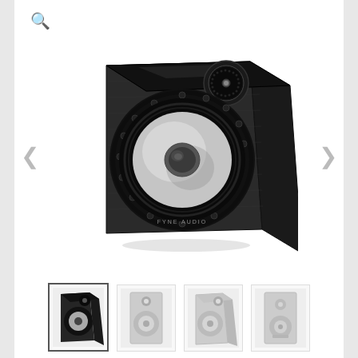[Figure (photo): Product photo of a Fyne Audio bookshelf speaker in black wood finish, showing a large woofer with decorative surround and a tweeter on top. Viewed from a slight angle.]
[Figure (photo): Thumbnail 1: Small product photo of the same Fyne Audio bookshelf speaker, front-angled view, black finish.]
[Figure (photo): Thumbnail 2: Small product photo of a light grey/white bookshelf speaker, front view.]
[Figure (photo): Thumbnail 3: Small product photo of a light grey bookshelf speaker, angled view.]
[Figure (photo): Thumbnail 4: Small product photo of a light grey bookshelf speaker, front view showing two drivers.]